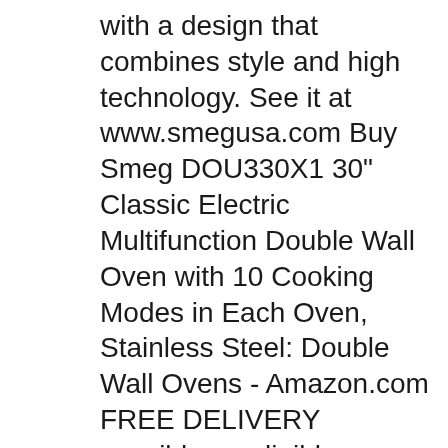with a design that combines style and high technology. See it at www.smegusa.com Buy Smeg DOU330X1 30" Classic Electric Multifunction Double Wall Oven with 10 Cooking Modes in Each Oven, Stainless Steel: Double Wall Ovens - Amazon.com FREE DELIVERY possible on eligible purchases
Smeg ovens are among the most stylish appliances available. If you want to make a statement in your kitchen, choose a great looking Smeg oven from our range of ovens.. A Smeg oven will complement any kitchen, but just because they look good, it doesn't mean you'll be compromising on